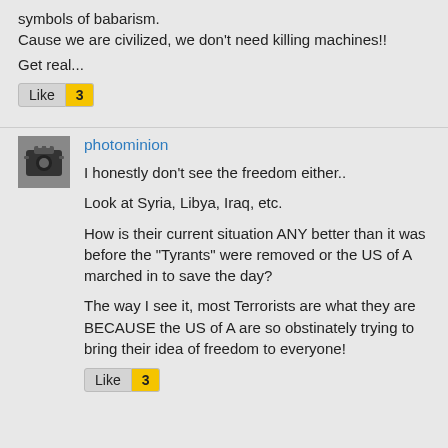symbols of babarism.
Cause we are civilized, we don't need killing machines!!
Get real...
[Figure (other): Like button with count 3]
photominion
I honestly don't see the freedom either..
Look at Syria, Libya, Iraq, etc.
How is their current situation ANY better than it was before the "Tyrants" were removed or the US of A marched in to save the day?
The way I see it, most Terrorists are what they are BECAUSE the US of A are so obstinately trying to bring their idea of freedom to everyone!
[Figure (other): Like button with count 3]